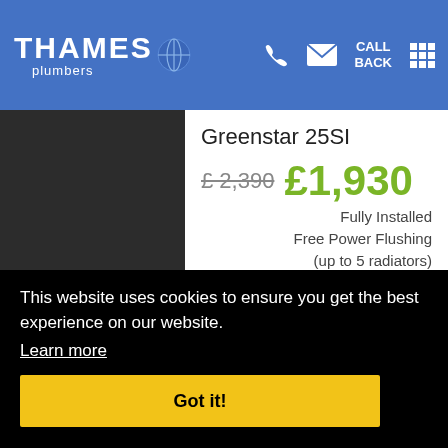THAMES plumbers — CALL BACK navigation header
Greenstar 25SI
£ 2,390  £1,930
Fully Installed
Free Power Flushing
(up to 5 radiators)
7 YEARS
This website uses cookies to ensure you get the best experience on our website.
Learn more
Got it!